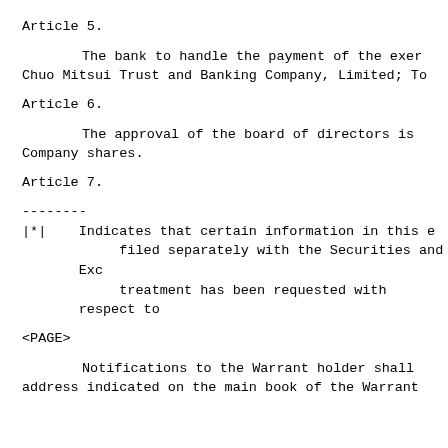Article 5.
The bank to handle the payment of the exer Chuo Mitsui Trust and Banking Company, Limited; To
Article 6.
The approval of the board of directors is Company shares.
Article 7.
--------
|*|   Indicates that certain information in this e filed separately with the Securities and Exc treatment has been requested with respect to
<PAGE>
Notifications to the Warrant holder shall address indicated on the main book of the Warrant